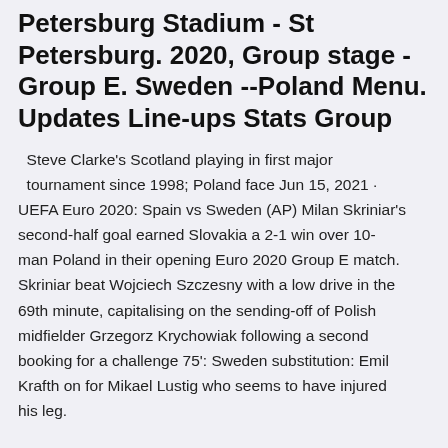Petersburg Stadium - St Petersburg. 2020, Group stage - Group E. Sweden --Poland Menu. Updates Line-ups Stats Group
Steve Clarke's Scotland playing in first major tournament since 1998; Poland face Jun 15, 2021 · UEFA Euro 2020: Spain vs Sweden (AP) Milan Skriniar's second-half goal earned Slovakia a 2-1 win over 10-man Poland in their opening Euro 2020 Group E match. Skriniar beat Wojciech Szczesny with a low drive in the 69th minute, capitalising on the sending-off of Polish midfielder Grzegorz Krychowiak following a second booking for a challenge 75': Sweden substitution: Emil Krafth on for Mikael Lustig who seems to have injured his leg.
Sweden have had the better of their meetings with